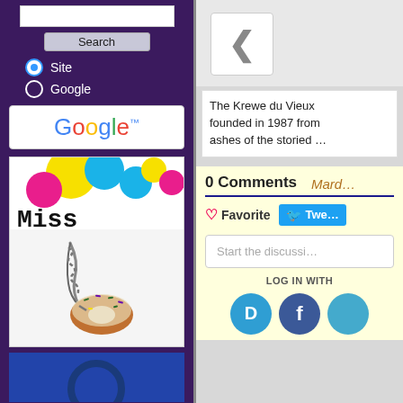[Figure (screenshot): Left sidebar of a website with dark purple background, showing a search bar, Search button, Site/Google radio buttons, Google logo, Miss Malaprop store logo with colorful circles and a king cake donut necklace image, and a blue image strip at the bottom.]
[Figure (screenshot): Right side of a webpage showing a back navigation chevron button, article snippet about Krewe du Vieux founded in 1987, a comments section with 0 Comments, Mardi tab, Favorite and Tweet buttons, Start the discussion input box, LOG IN WITH label, and Disqus/Facebook social login icons.]